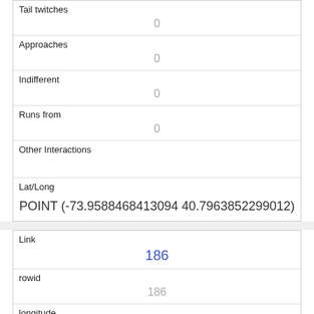| Tail twitches | 0 |
| Approaches | 0 |
| Indifferent | 0 |
| Runs from | 0 |
| Other Interactions |  |
| Lat/Long | POINT (-73.9588468413094 40.7963852299012) |
| Link | 186 |
| rowid | 186 |
| longitude | -73.9788138172962 |
| latitude |  |